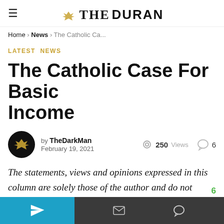THE DURAN
Home › News › The Catholic Ca...
LATEST NEWS
The Catholic Case For Basic Income
by TheDarkMan February 19, 2021 — 250 Views — 6 comments
The statements, views and opinions expressed in this column are solely those of the author and do not necessarily represent those of this site. This site does not give financial,